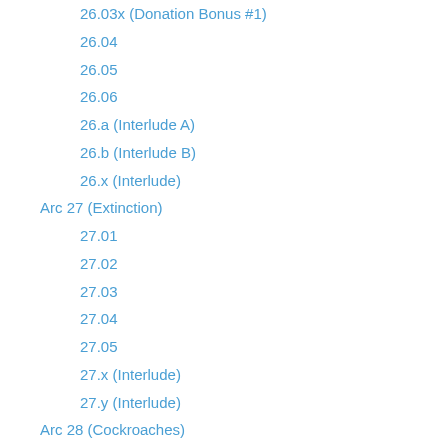26.03x (Donation Bonus #1)
26.04
26.05
26.06
26.a (Interlude A)
26.b (Interlude B)
26.x (Interlude)
Arc 27 (Extinction)
27.01
27.02
27.03
27.04
27.05
27.x (Interlude)
27.y (Interlude)
Arc 28 (Cockroaches)
28.01
28.02
28.03
28.04